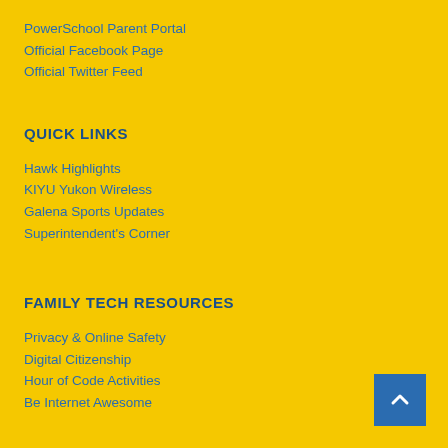PowerSchool Parent Portal
Official Facebook Page
Official Twitter Feed
QUICK LINKS
Hawk Highlights
KIYU Yukon Wireless
Galena Sports Updates
Superintendent's Corner
FAMILY TECH RESOURCES
Privacy & Online Safety
Digital Citizenship
Hour of Code Activities
Be Internet Awesome